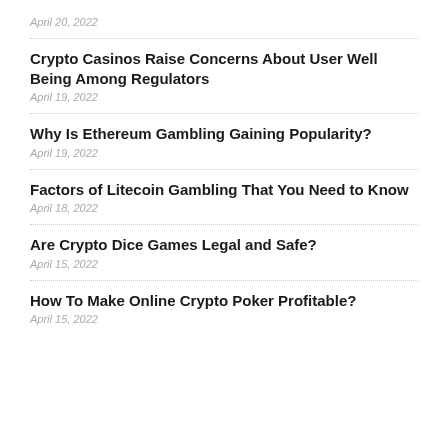April 20, 2022
Crypto Casinos Raise Concerns About User Well Being Among Regulators
April 19, 2022
Why Is Ethereum Gambling Gaining Popularity?
April 19, 2022
Factors of Litecoin Gambling That You Need to Know
April 18, 2022
Are Crypto Dice Games Legal and Safe?
April 15, 2022
How To Make Online Crypto Poker Profitable?
April 15, 2022